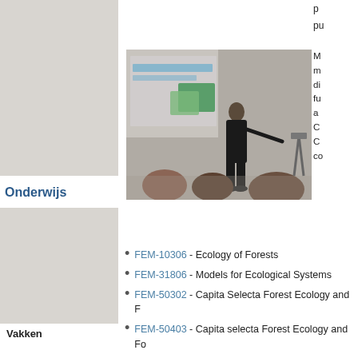p... pu...
[Figure (photo): Grey placeholder box at top left of sidebar]
Onderwijs
[Figure (photo): Grey placeholder box in sidebar middle section]
[Figure (photo): Photo of a presenter standing at a projection screen showing forest ecology images, with audience members in the foreground]
M... m... di... fu... a... C... C... co...
FEM-10306 - Ecology of Forests
FEM-31806 - Models for Ecological Systems
FEM-50302 - Capita Selecta Forest Ecology and F
FEM-50403 - Capita selecta Forest Ecology and Fo
FEM-70224 - MSc Internship Forest Ecology and N
FEM-70812 - BSc Internship Forest Ecology and F
Vakken